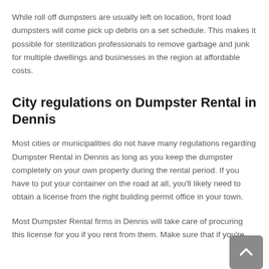While roll off dumpsters are usually left on location, front load dumpsters will come pick up debris on a set schedule. This makes it possible for sterilization professionals to remove garbage and junk for multiple dwellings and businesses in the region at affordable costs.
City regulations on Dumpster Rental in Dennis
Most cities or municipalities do not have many regulations regarding Dumpster Rental in Dennis as long as you keep the dumpster completely on your own property during the rental period. If you have to put your container on the road at all, you'll likely need to obtain a license from the right building permit office in your town.
Most Dumpster Rental firms in Dennis will take care of procuring this license for you if you rent from them. Make sure that if you're